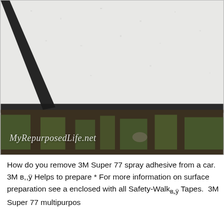[Figure (photo): Outdoor photo showing a white stucco/textured wall at the top and a grassy garden bed area at the bottom. A dark diagonal object (possibly a post or stake) is visible on the left side. A watermark reading 'MyRepurposedLife.net' appears in the lower left of the image in white italic script.]
How do you remove 3M Super 77 spray adhesive from a car. 3M в,,ÿ Helps to prepare * For more information on surface preparation see a enclosed with all Safety-Walkв„ÿ Tapes.  3M Super 77 multipurpos